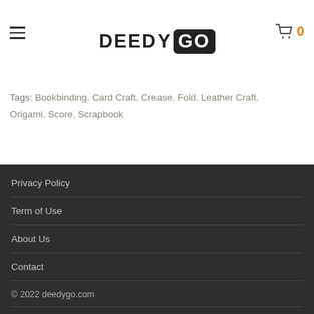DEEDY GO
Tags: Bookbinding, Card Craft, Crease, Fold, Leather Craft, Origami, Score, Scrapbook
Privacy Policy
Term of Use
About Us
Contact
© 2022 deedygo.com